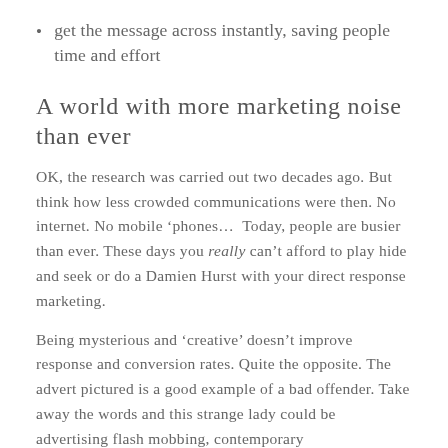get the message across instantly, saving people time and effort
A world with more marketing noise than ever
OK, the research was carried out two decades ago. But think how less crowded communications were then. No internet. No mobile ‘phones…  Today, people are busier than ever. These days you really can’t afford to play hide and seek or do a Damien Hurst with your direct response marketing.
Being mysterious and ‘creative’ doesn’t improve response and conversion rates. Quite the opposite. The advert pictured is a good example of a bad offender. Take away the words and this strange lady could be advertising flash mobbing, contemporary